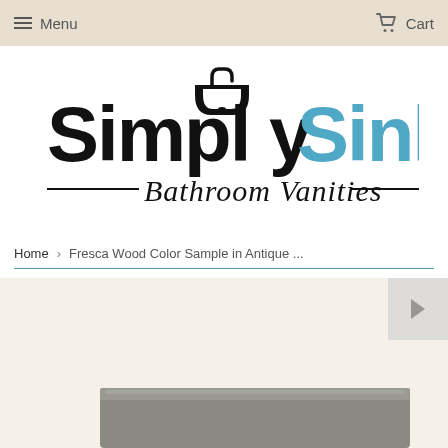Menu  Cart
[Figure (logo): SimplySinks Bathroom Vanities logo — 'Simply' in black bold sans-serif with a sink icon replacing the 't', 'Sinks' in teal/blue bold sans-serif, 'Bathroom Vanities' in black italic script below with horizontal rules on each side]
Home > Fresca Wood Color Sample in Antique ...
[Figure (photo): Partial product photo of a wood color sample in antique finish, partially visible at the bottom of the page]